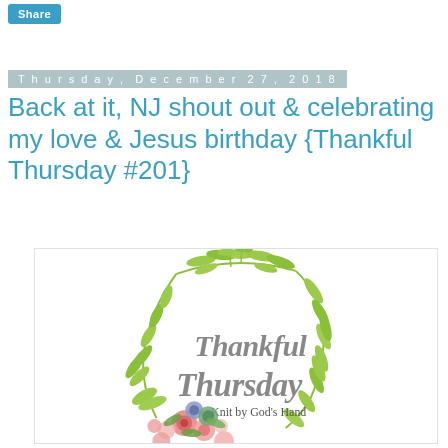[Figure (illustration): Blue 'Share' button]
Thursday, December 27, 2018
Back at it, NJ shout out & celebrating my love & Jesus birthday {Thankful Thursday #201}
[Figure (illustration): Thankful Thursday graphic with a green leaf wreath, floral arrangement at bottom left, and script text reading 'Thankful Thursday Knit by God's Hand']